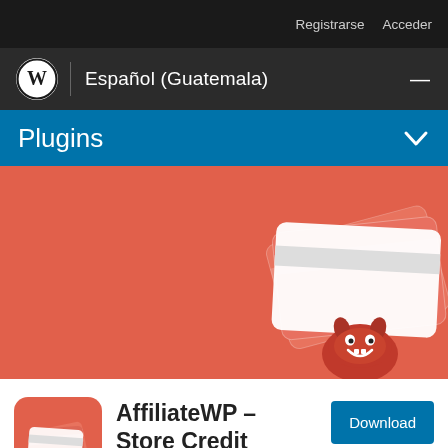Registrarse  Acceder
Español (Guatemala)
Plugins
[Figure (illustration): AffiliateWP – Store Credit hero banner on salmon/coral background with credit card icons and monster mascot illustration]
[Figure (logo): AffiliateWP – Store Credit plugin icon: salmon rounded square with white credit cards and red monster mascot]
AffiliateWP – Store Credit
By Sandhills Development, LLC